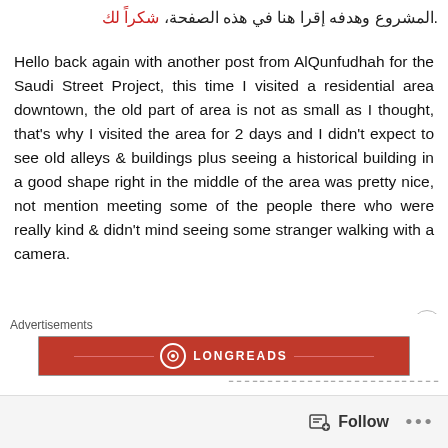.المشروع وهدفه إقرا هنا في هذه الصفحة، شكراً لك
Hello back again with another post from AlQunfudhah for the Saudi Street Project, this time I visited a residential area downtown, the old part of area is not as small as I thought, that's why I visited the area for 2 days and I didn't expect to see old alleys & buildings plus seeing a historical building in a good shape right in the middle of the area was pretty nice, not mention meeting some of the people there who were really kind & didn't mind seeing some stranger walking with a camera.
مرحبا وعودة مرة اخرى لتدوينة اخرى من محافظة القنفذة
Advertisements
[Figure (logo): Longreads advertisement banner in red]
Follow